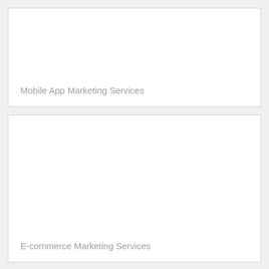[Figure (other): Card placeholder with label 'Mobile App Marketing Services' at bottom left]
Mobile App Marketing Services
[Figure (other): Card placeholder with label 'E-commerce Marketing Services' at bottom left]
E-commerce Marketing Services
[Figure (illustration): Partial teal/blue icon resembling a rounded square image/photo icon, visible at top of card]